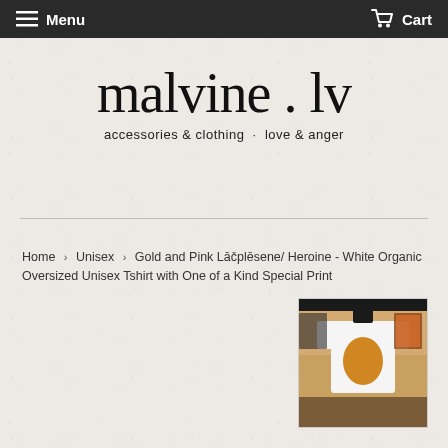Menu  Cart
[Figure (logo): Handwritten script logo reading 'malvine . lv' with tagline 'accessories & clothing · love & anger']
Home › Unisex › Gold and Pink Lāčplēsene/ Heroine - White Organic Oversized Unisex Tshirt with One of a Kind Special Print
[Figure (photo): Product photo of a white oversized unisex t-shirt with an orange/gold print on the back, hanging on display against a wall with framed artwork]